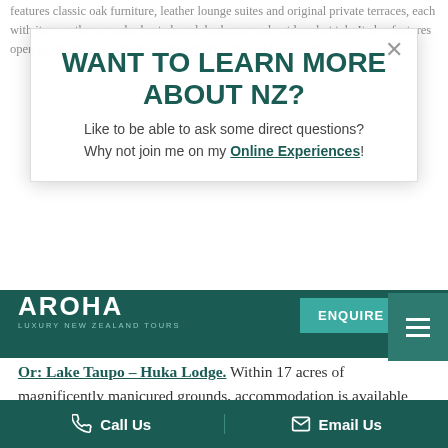WANT TO LEARN MORE ABOUT NZ?
Like to be able to ask some direct questions?
Why not join me on my Online Experiences!
[Figure (logo): Aroha Luxury New Zealand Tours logo in white on dark teal background]
Or: Lake Taupo - Huka Lodge. Within 17 acres of magnificently manicured grounds, accommodation is available within just 25 suites. All nestling along the banks of the magnificent Waikato River, upstream from the mighty Huka Falls. Enter through the gates of Huka Lodge and immediately begin to leave the real world behind. As guests journey the length of the drive and encounter the park-like grounds, a feeling of peace and tranquillity begins to gently envelop them. Offering accommodation within 18 Junior Lodge Suites, one Lodge Suite, the four-bedroom Owner's Cottage and the two-bedroom Alan Pye Cottage – guests luxuriate in an exclusive
Call Us  |  Email Us